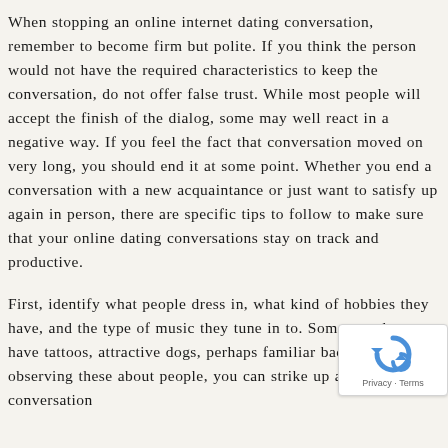When stopping an online internet dating conversation, remember to become firm but polite. If you think the person would not have the required characteristics to keep the conversation, do not offer false trust. While most people will accept the finish of the dialog, some may well react in a negative way. If you feel the fact that conversation moved on very long, you should end it at some point. Whether you end a conversation with a new acquaintance or just want to satisfy up again in person, there are specific tips to follow to make sure that your online dating conversations stay on track and productive.
First, identify what people dress in, what kind of hobbies they have, and the type of music they tune in to. Some people may have tattoos, attractive dogs, perhaps familiar backdrops. By observing these about people, you can strike up a great conversation
[Figure (other): reCAPTCHA badge with circular arrow logo and 'Privacy - Terms' text]